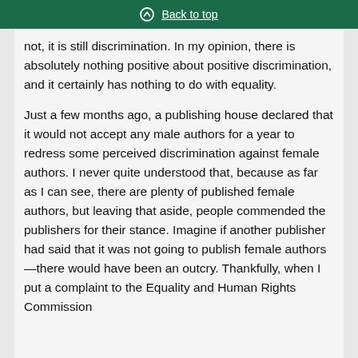Back to top
not, it is still discrimination. In my opinion, there is absolutely nothing positive about positive discrimination, and it certainly has nothing to do with equality.
Just a few months ago, a publishing house declared that it would not accept any male authors for a year to redress some perceived discrimination against female authors. I never quite understood that, because as far as I can see, there are plenty of published female authors, but leaving that aside, people commended the publishers for their stance. Imagine if another publisher had said that it was not going to publish female authors—there would have been an outcry. Thankfully, when I put a complaint to the Equality and Human Rights Commission